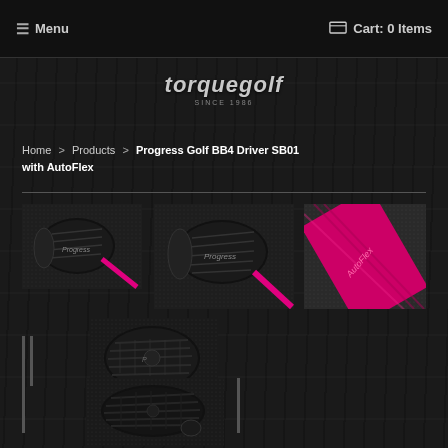☰ Menu   🛒 Cart: 0 Items
[Figure (logo): torquegolf logo - italic text in silver/gray on dark background with tagline]
Home > Products > Progress Golf BB4 Driver SB01 with AutoFlex
[Figure (photo): Golf driver head thumbnail - black carbon fiber with pink shaft, front view]
[Figure (photo): Golf driver head thumbnail - black carbon fiber with pink shaft, angled view]
[Figure (photo): Golf shaft grip close-up - pink/magenta grip with texture detail]
[Figure (photo): Golf driver head thumbnail - black carbon fiber, top view]
[Figure (photo): Golf driver head - black carbon fiber with ribbed texture, top-down view]